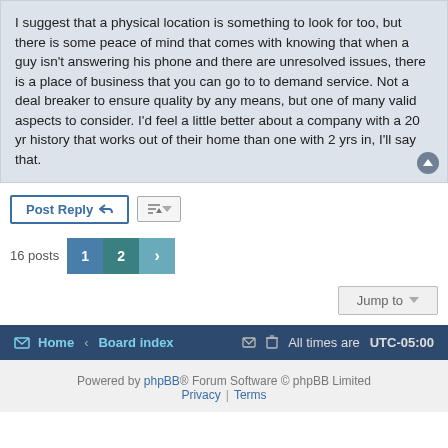I suggest that a physical location is something to look for too, but there is some peace of mind that comes with knowing that when a guy isn't answering his phone and there are unresolved issues, there is a place of business that you can go to to demand service. Not a deal breaker to ensure quality by any means, but one of many valid aspects to consider. I'd feel a little better about a company with a 20 yr history that works out of their home than one with 2 yrs in, I'll say that.
Post Reply | Sort | 16 posts | 1 | 2 | > | Jump to
Home · Board index | All times are UTC-05:00
Powered by phpBB® Forum Software © phpBB Limited
Privacy | Terms